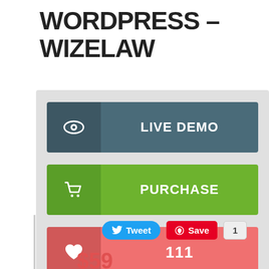WORDPRESS – WIZELAW
[Figure (screenshot): UI widget panel with three large buttons: LIVE DEMO (dark teal), PURCHASE (green), and 111 likes (pink/red), each with icon on left side]
Tweet  Save  1
$59